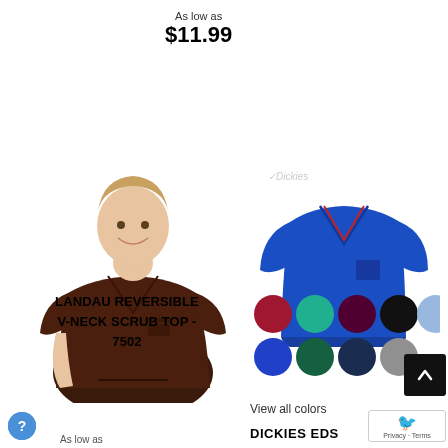As low as
$11.99
[Figure (photo): Man wearing dark brown v-neck scrub top, smiling, half-body shot]
[Figure (photo): Royal blue v-neck scrub top laid flat on white background, with Dickies watermark]
LANDAU REVERSIBLE V-NECK SCRUB TOP - 7502
[Figure (other): Color swatches in two rows: row 1: dark red/crimson, teal/green, dark maroon, black, light blue; row 2: royal blue, dark teal/green, navy, gray]
View all colors
DICKIES EDS
As low as